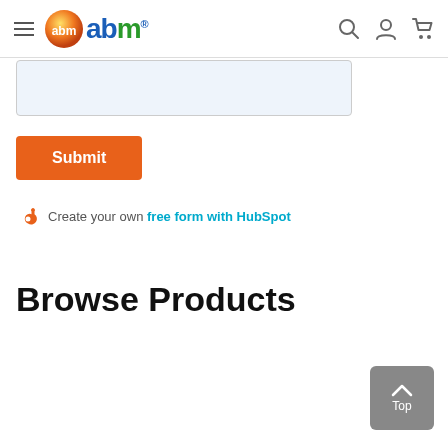ABM abm® navigation bar with hamburger menu, logo, search, user, cart icons
[Figure (screenshot): Light blue form input text box (partially visible)]
[Figure (screenshot): Orange Submit button]
Create your own free form with HubSpot
Browse Products